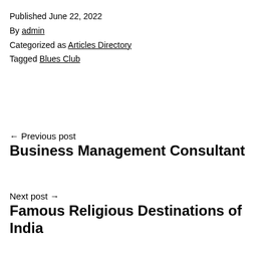Published June 22, 2022
By admin
Categorized as Articles Directory
Tagged Blues Club
← Previous post
Business Management Consultant
Next post →
Famous Religious Destinations of India